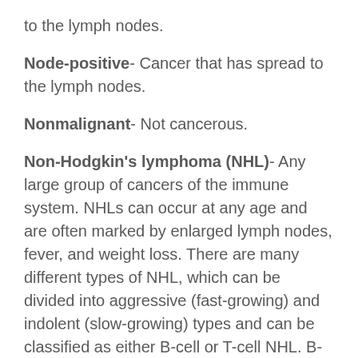to the lymph nodes.
Node-positive- Cancer that has spread to the lymph nodes.
Nonmalignant- Not cancerous.
Non-Hodgkin's lymphoma (NHL)- Any large group of cancers of the immune system. NHLs can occur at any age and are often marked by enlarged lymph nodes, fever, and weight loss. There are many different types of NHL, which can be divided into aggressive (fast-growing) and indolent (slow-growing) types and can be classified as either B-cell or T-cell NHL. B-cell NHLs include Burkitt's lymphoma, diffuse large B-cell lymphoma, follicular lymphoma, immunoblastic large cell